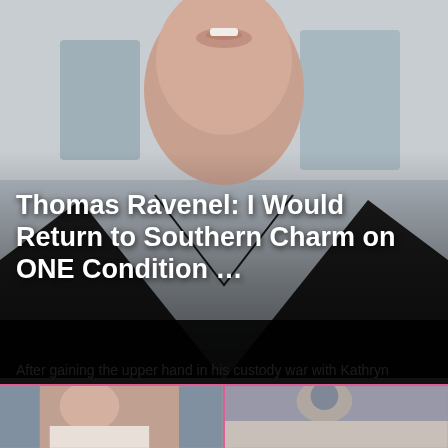[Figure (photo): Close-up photo of a man (Thomas Ravenel) in a black V-neck shirt, face partially visible from nose to chest, blurred light background]
Thomas Ravenel: I Would Return to Southern Charm on ONE Condition …
After gaining the upper hand in his custody war with Kathryn Ravenel, you might think that noted criminal Thomas Ravenel …
Nov 14, 5:15 PM • Thomas Ravenel
[Figure (photo): Two thumbnail images side by side at bottom of article card]